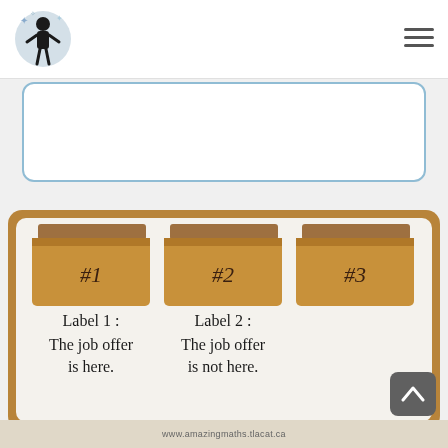Amazing Math logo and navigation
Cat or Dog
Bark! Meow! Which is Cindy's new companion?
[Figure (illustration): Three cardboard boxes labeled #1, #2, #3 with labels: Label 1: The job offer is here. / Label 2: The job offer is not here.]
www.amazingmaths.tlacat.ca